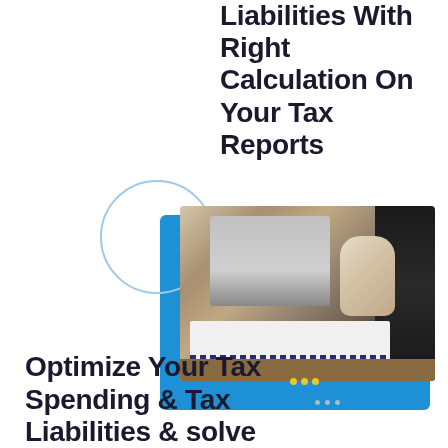Liabilities With Right Calculation On Your Tax Reports
[Figure (photo): Person working at a laptop on a desk with a notebook/binder open, sitting in a dark office chair. Image is overlaid on a blue rectangle background with a circular outline decoration. Yellow and grey dot accents nearby.]
Optimize Your Tax Spending & Tax Liabilities & solve